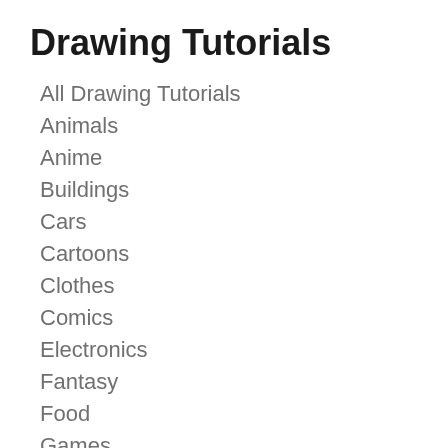Drawing Tutorials
All Drawing Tutorials
Animals
Anime
Buildings
Cars
Cartoons
Clothes
Comics
Electronics
Fantasy
Food
Games
Holidays
L…